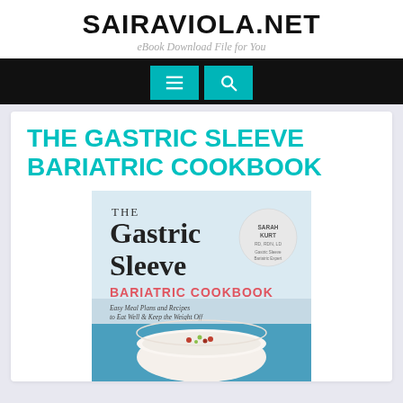SAIRAVIOLA.NET
eBook Download File for You
THE GASTRIC SLEEVE BARIATRIC COOKBOOK
[Figure (photo): Book cover of 'The Gastric Sleeve Bariatric Cookbook' by Sarah Kurt. Shows the title in large serif and pink text, subtitle 'Easy Meal Plans and Recipes to Eat Well & Keep the Weight Off', and a photo of a white bowl of soup garnished with herbs and toppings on a blue background.]